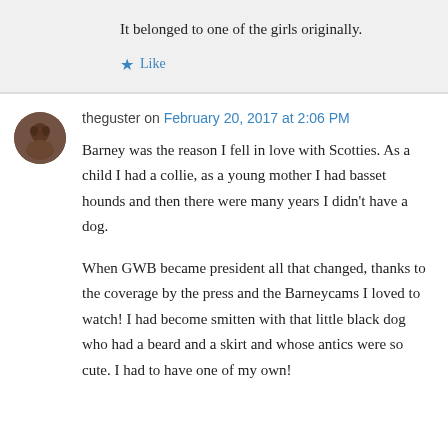It belonged to one of the girls originally.
Like
theguster on February 20, 2017 at 2:06 PM
Barney was the reason I fell in love with Scotties. As a child I had a collie, as a young mother I had basset hounds and then there were many years I didn't have a dog.
When GWB became president all that changed, thanks to the coverage by the press and the Barneycams I loved to watch! I had become smitten with that little black dog who had a beard and a skirt and whose antics were so cute. I had to have one of my own!